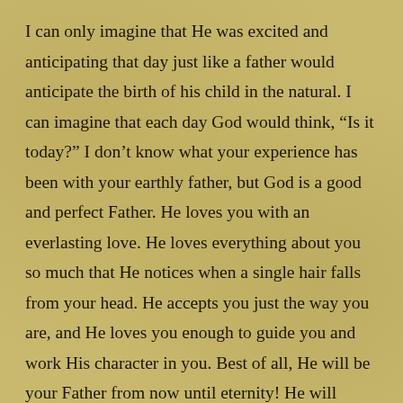I can only imagine that He was excited and anticipating that day just like a father would anticipate the birth of his child in the natural. I can imagine that each day God would think, “Is it today?” I don’t know what your experience has been with your earthly father, but God is a good and perfect Father. He loves you with an everlasting love. He loves everything about you so much that He notices when a single hair falls from your head. He accepts you just the way you are, and He loves you enough to guide you and work His character in you. Best of all, He will be your Father from now until eternity! He will never leave you nor forsake you! Thank Him today for being your Everlasting Father!